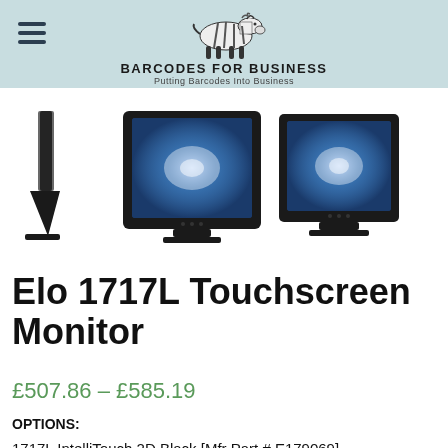BARCODES FOR BUSINESS – Putting Barcodes Into Business
[Figure (photo): Three views of the Elo 1717L Touchscreen Monitor: side profile (left), front-facing full view (center), and slight angle front view (right). All monitors are dark-framed with blue-glowing screens.]
Elo 1717L Touchscreen Monitor
£507.86 – £585.19
OPTIONS:
1717L IntelliTouch 2D Black [Mfr Part # E179069]